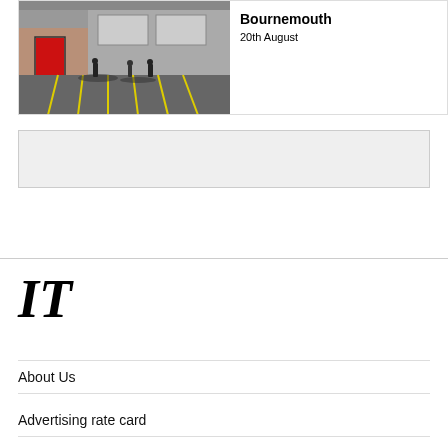[Figure (photo): Photo of a supermarket car park with shopping trolleys and a red door, yellow lines on asphalt]
Bournemouth
20th August
[Figure (other): Advertisement placeholder box with grey background]
[Figure (logo): IT logo in large bold italic serif font]
About Us
Advertising rate card